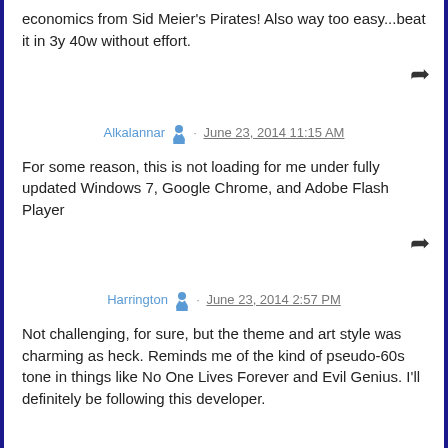economics from Sid Meier's Pirates! Also way too easy...beat it in 3y 40w without effort.
↩ (reply arrow)
Alkalannar · June 23, 2014 11:15 AM
For some reason, this is not loading for me under fully updated Windows 7, Google Chrome, and Adobe Flash Player
↩ (reply arrow)
Harrington · June 23, 2014 2:57 PM
Not challenging, for sure, but the theme and art style was charming as heck. Reminds me of the kind of pseudo-60s tone in things like No One Lives Forever and Evil Genius. I'll definitely be following this developer.